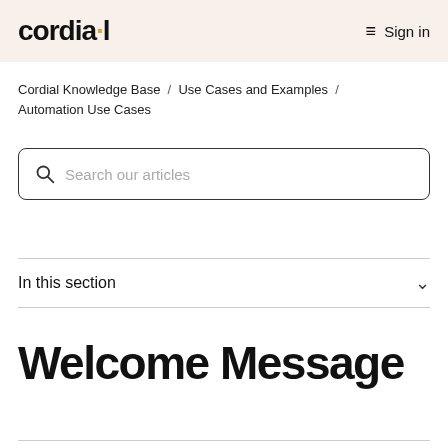cordial  ≡  Sign in
Cordial Knowledge Base / Use Cases and Examples / Automation Use Cases
[Figure (other): Search bar with placeholder text 'Search our articles']
In this section
Welcome Message